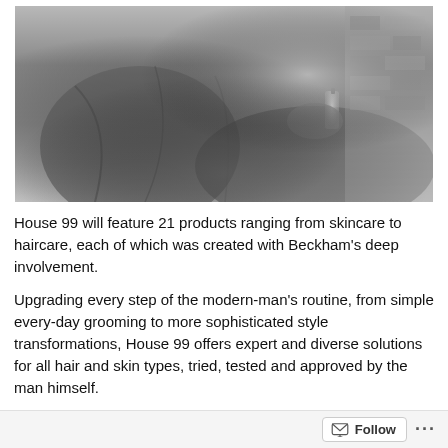[Figure (photo): Black and white photograph showing a person seated, wearing casual clothing, holding grooming/beauty products. Brick wall visible in background.]
House 99 will feature 21 products ranging from skincare to haircare, each of which was created with Beckham's deep involvement.
Upgrading every step of the modern-man's routine, from simple every-day grooming to more sophisticated style transformations, House 99 offers expert and diverse solutions for all hair and skin types, tried, tested and approved by the man himself.
Just like David, the brand is both masculine and stylish, with a product assortment inspired by his legendry evolving look, developed to work together and provide everyone with David's real-life routine for game-changing grooming results. For David, it's all about a holistic approach to his daily style regime, focusing on
Follow ...